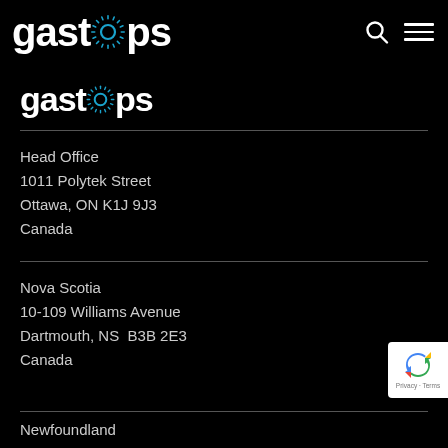gastops [logo with gear] [search icon] [menu icon]
[Figure (logo): Gastops logo in white with blue gear/sunburst replacing the 'o', large version]
Head Office
1011 Polytek Street
Ottawa, ON  K1J 9J3
Canada
Nova Scotia
10-109 Williams Avenue
Dartmouth, NS  B3B 2E3
Canada
Newfoundland
[Figure (logo): Google reCAPTCHA badge with recycling arrows icon, Privacy and Terms links]